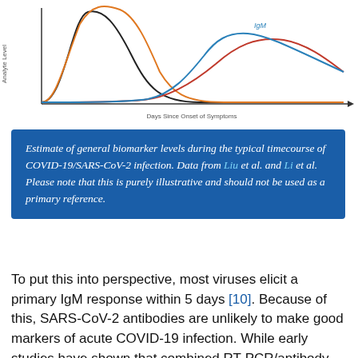[Figure (continuous-plot): Line chart showing antibody/analyte levels (IgM and other biomarkers) over days since onset of symptoms for COVID-19/SARS-CoV-2 infection. Black, orange, and red/blue curves shown.]
Estimate of general biomarker levels during the typical timecourse of COVID-19/SARS-CoV-2 infection. Data from Liu et al. and Li et al. Please note that this is purely illustrative and should not be used as a primary reference.
To put this into perspective, most viruses elicit a primary IgM response within 5 days [10]. Because of this, SARS-CoV-2 antibodies are unlikely to make good markers of acute COVID-19 infection. While early studies have shown that combined RT-PCR/antibody testing can reduce false-negative rates [11].